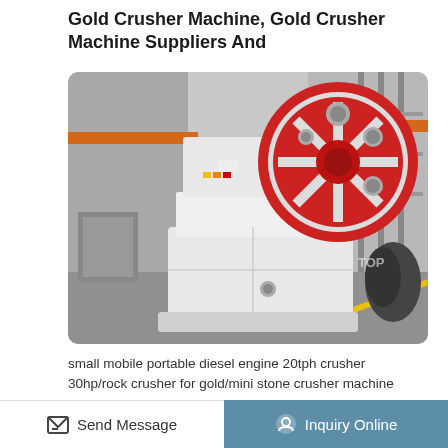Gold Crusher Machine, Gold Crusher Machine Suppliers And
[Figure (photo): A white jaw crusher machine photographed in an industrial factory setting. The machine features a large red flywheel on top and a boxy white body. Industrial cranes and equipment visible in the background.]
small mobile portable diesel engine 20tph crusher 30hp/rock crusher for gold/mini stone crusher machine price. US $4980. 5 YR. Add to Favorites.
Send Message
Inquiry Online